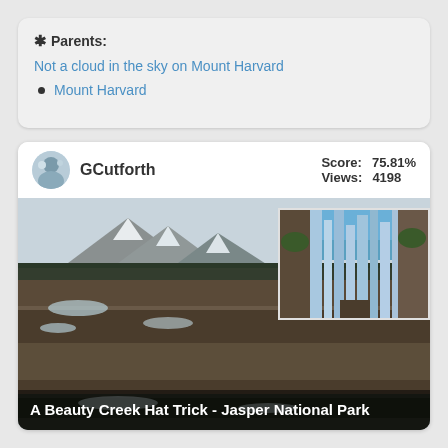* Parents:
Not a cloud in the sky on Mount Harvard
Mount Harvard
GCutforth   Score: 75.81%   Views: 4198
[Figure (photo): Mountain landscape with snow and forest, with an inset photo of an icy frozen waterfall in Jasper National Park]
A Beauty Creek Hat Trick - Jasper National Park